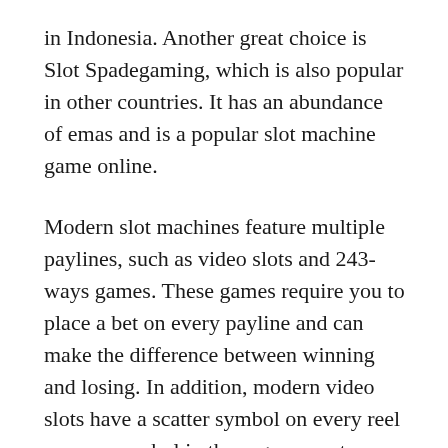in Indonesia. Another great choice is Slot Spadegaming, which is also popular in other countries. It has an abundance of emas and is a popular slot machine game online.
Modern slot machines feature multiple paylines, such as video slots and 243-ways games. These games require you to place a bet on every payline and can make the difference between winning and losing. In addition, modern video slots have a scatter symbol on every reel – every symbol in these games acts as a scatter! This means that even if you win a round, the payout is based on the number of matching symbols on the payline.